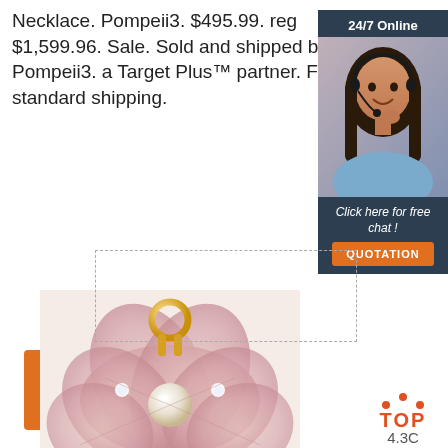Necklace. Pompeii3. $495.99. reg $1,599.96. Sale. Sold and shipped by Pompeii3. a Target Plus™ partner. Free standard shipping.
Get Price
[Figure (screenshot): 24/7 Online chat widget with a female customer service agent wearing a headset, dark navy background, with text 'Click here for free chat!' and an orange QUOTATION button.]
[Figure (photo): Close-up photo of a pink floral enamel jewelry necklace pendant with pearl center and crystal accents on a gold-tone setting.]
[Figure (logo): TOP badge logo with orange dots and text, followed by '4.3C' in gray.]